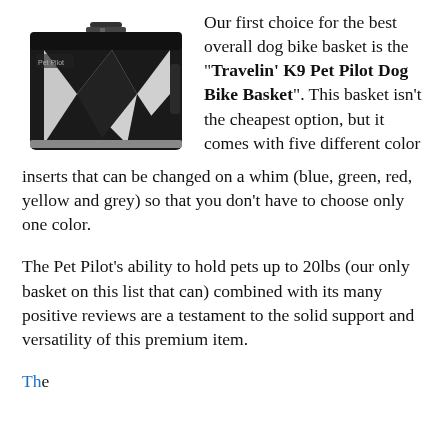[Figure (photo): A black dog bike basket with white/grey panels, rectangular shape with handles and straps, shown from a slight angle.]
Our first choice for the best overall dog bike basket is the "Travelin' K9 Pet Pilot Dog Bike Basket". This basket isn't the cheapest option, but it comes with five different color inserts that can be changed on a whim (blue, green, red, yellow and grey) so that you don't have to choose only one color.
The Pet Pilot's ability to hold pets up to 20lbs (our only basket on this list that can) combined with its many positive reviews are a testament to the solid support and versatility of this premium item.
The...